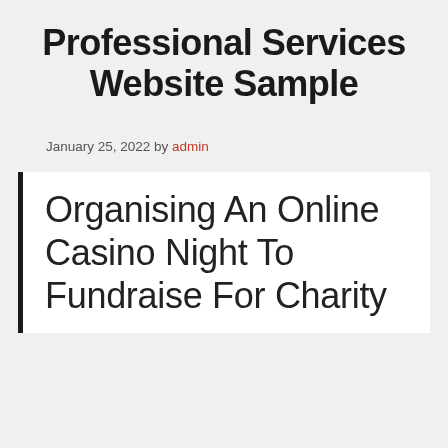Professional Services Website Sample
January 25, 2022 by admin
Organising An Online Casino Night To Fundraise For Charity